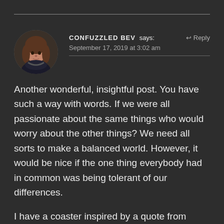[Figure (photo): Circular avatar photo of a woman with brown hair, dark background]
CONFUZZLED BEV says: ↩ Reply
September 17, 2019 at 3:02 am
Another wonderful, insightful post. You have such a way with words. If we were all passionate about the same things who would worry about the other things? We need all sorts to make a balanced world. However, it would be nice if the one thing everybody had in common was being tolerant of our differences.

I have a coaster inspired by a quote from Fantastic Mr Fox: "We are all